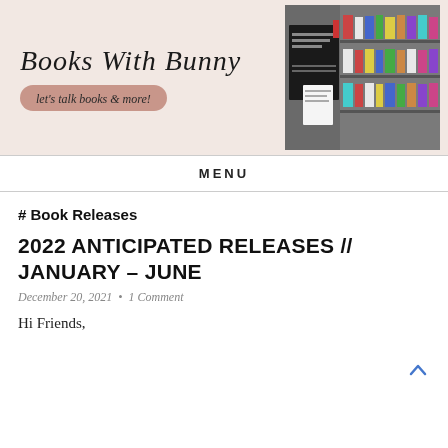[Figure (illustration): Books With Bunny blog banner. Left side has light pinkish-beige background with cursive text 'Books With Bunny' and subtitle 'let's talk books & more!' on a pink oval. Right side shows a photo of a bookstore interior with shelves of books.]
MENU
# Book Releases
2022 ANTICIPATED RELEASES // JANUARY – JUNE
December 20, 2021 • 1 Comment
Hi Friends,